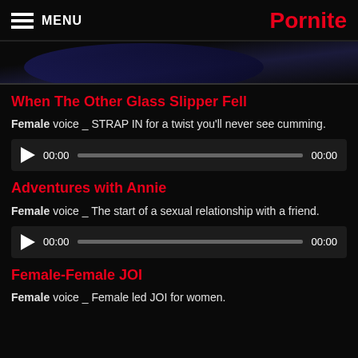MENU | Pornite
[Figure (photo): Dark banner image with a curved arc shape in dark blue/purple tones]
When The Other Glass Slipper Fell
Female voice _ STRAP IN for a twist you'll never see cumming.
[Figure (other): Audio player with play button, time display 00:00, progress bar, and end time 00:00]
Adventures with Annie
Female voice _ The start of a sexual relationship with a friend.
[Figure (other): Audio player with play button, time display 00:00, progress bar, and end time 00:00]
Female-Female JOI
Female voice _ Female led JOI for women.